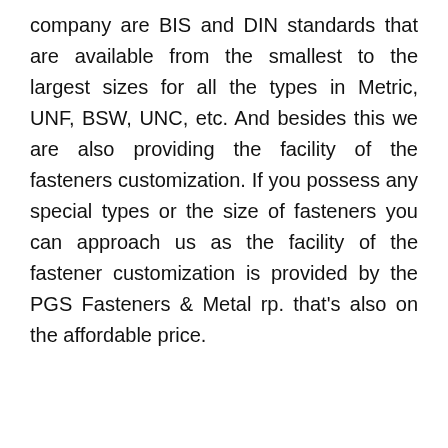company are BIS and DIN standards that are available from the smallest to the largest sizes for all the types in Metric, UNF, BSW, UNC, etc. And besides this we are also providing the facility of the fasteners customization. If you possess any special types or the size of fasteners you can approach us as the facility of the fastener customization is provided by the PGS Fasteners & Metal rp. that's also on the affordable price.
[Figure (other): Gray placeholder image area with a red 'SEND INQUIRY' vertical sidebar button and a red chat icon button on the left side.]